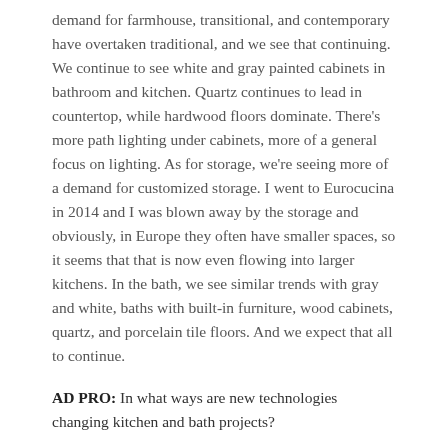demand for farmhouse, transitional, and contemporary have overtaken traditional, and we see that continuing. We continue to see white and gray painted cabinets in bathroom and kitchen. Quartz continues to lead in countertop, while hardwood floors dominate. There’s more path lighting under cabinets, more of a general focus on lighting. As for storage, we’re seeing more of a demand for customized storage. I went to Eurocucina in 2014 and I was blown away by the storage and obviously, in Europe they often have smaller spaces, so it seems that that is now even flowing into larger kitchens. In the bath, we see similar trends with gray and white, baths with built-in furniture, wood cabinets, quartz, and porcelain tile floors. And we expect that all to continue.
AD PRO: In what ways are new technologies changing kitchen and bath projects?